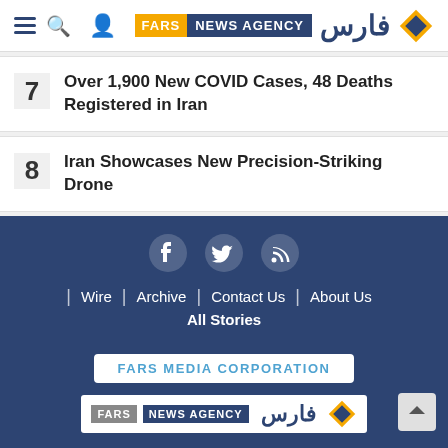Fars News Agency
7 Over 1,900 New COVID Cases, 48 Deaths Registered in Iran
8 Iran Showcases New Precision-Striking Drone
Wire | Archive | Contact Us | About Us | All Stories
FARS MEDIA CORPORATION
FARS NEWS AGENCY
Fars News Agency is licensed under a Creative Commons Attribution F.o International License